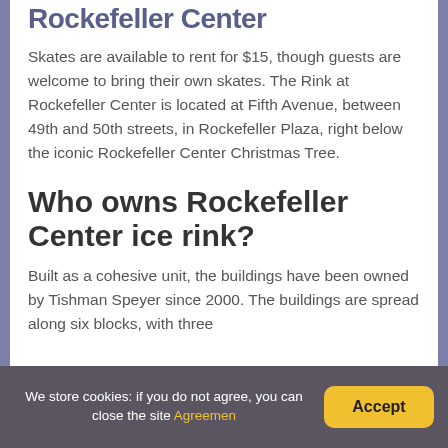Rockefeller Center
Skates are available to rent for $15, though guests are welcome to bring their own skates. The Rink at Rockefeller Center is located at Fifth Avenue, between 49th and 50th streets, in Rockefeller Plaza, right below the iconic Rockefeller Center Christmas Tree.
Who owns Rockefeller Center ice rink?
Built as a cohesive unit, the buildings have been owned by Tishman Speyer since 2000. The buildings are spread along six blocks, with three
We store cookies: if you do not agree, you can close the site Agreemen